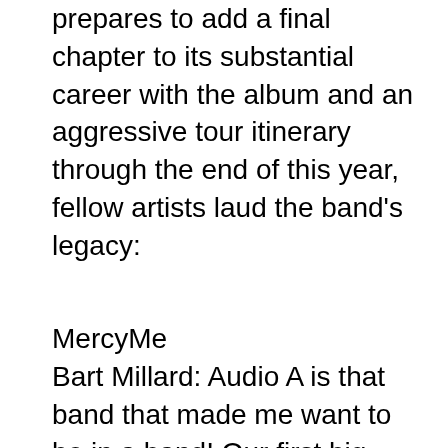prepares to add a final chapter to its substantial career with the album and an aggressive tour itinerary through the end of this year, fellow artists laud the band's legacy:
MercyMe
Bart Millard: Audio A is that band that made me want to be in a band! Our first big break was opening for Audio Adrenaline back in 1995, and we will be forever grateful. From time to time MercyMe is asked how we would want to be remembered when we decide to hang it up, and our answer is always the same: We hope people remember us as a band who had integrity on and off the stage, and tried our best to keep Christ the center of attention. The above Made With Respect and